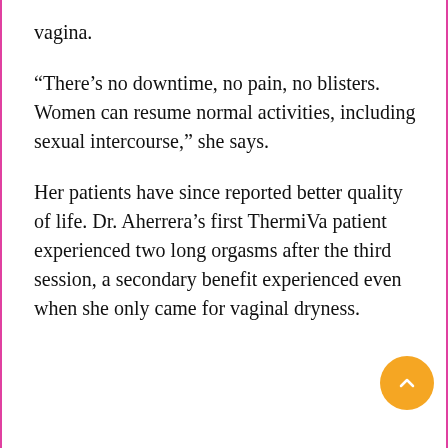vagina.
“There’s no downtime, no pain, no blisters. Women can resume normal activities, including sexual intercourse,” she says.
Her patients have since reported better quality of life. Dr. Aherrera’s first ThermiVa patient experienced two long orgasms after the third session, a secondary benefit experienced even when she only came for vaginal dryness.